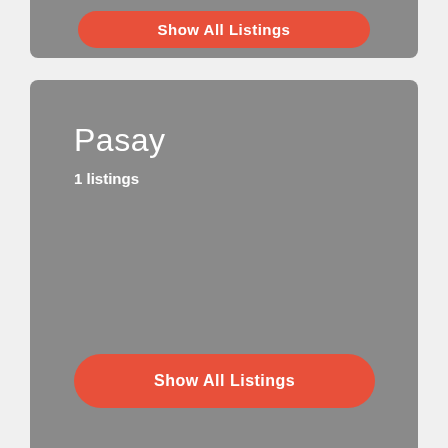[Figure (screenshot): Top portion of a gray card with a red rounded button partially visible at top]
Pasay
1 listings
Show All Listings